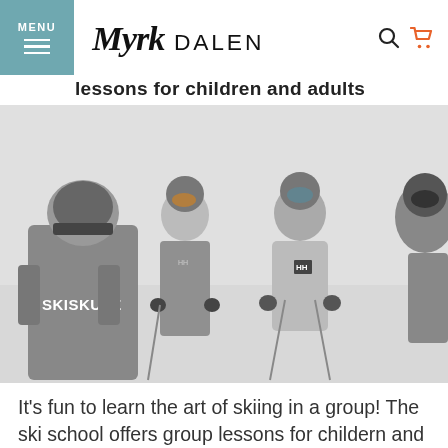MENU | Myrkdalen logo | Search | Cart
lessons for children and adults
[Figure (photo): Black and white photo of ski school group lesson. A person wearing a jacket with 'SKISKULE' written on the back is in the foreground. Other skiers with helmets, goggles, and ski poles are visible. One person wears a Helly Hansen (HH) jacket.]
It's fun to learn the art of skiing in a group! The ski school offers group lessons for childern and adults at all levels. Please contact the ski school